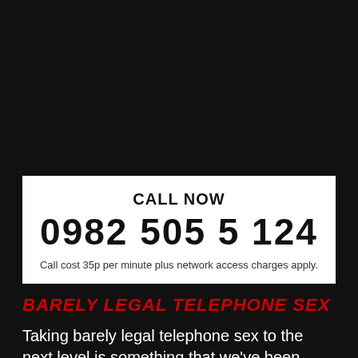CALL NOW
0982 505 5124
Call cost 35p per minute plus network access charges apply.
BARELY LEGAL TELEPHONE SEX
Taking barely legal telephone sex to the next level is something that we've been thinking about doing for a while. Not doing. Although we can assure you that...